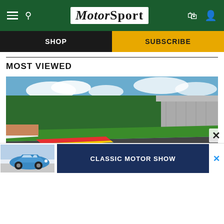MotorSport
SHOP
SUBSCRIBE
MOST VIEWED
[Figure (photo): Formula racing cars on the Spa-Francorchamps circuit, with grandstands, colorful kerbs, and spectators visible under a blue sky with clouds.]
[Figure (photo): Advertisement banner showing a blue classic Porsche 911 car with text 'CLASSIC MOTOR SHOW' on a dark blue background.]